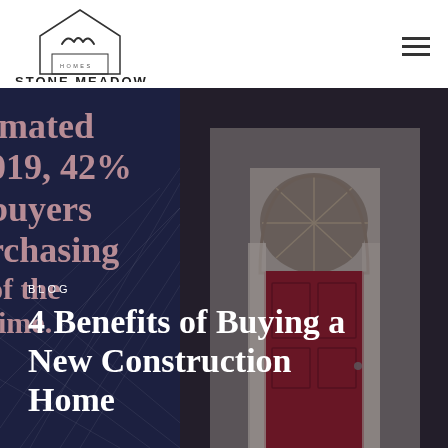[Figure (logo): Stone Meadow Homes logo with house outline and stylized script mark above the text]
[Figure (photo): Website navigation hamburger menu icon (three horizontal lines)]
[Figure (photo): Hero image composite: dark navy background with partial statistics text on left ('imated', '919, 42%', 'buyers', 'rchasing', 'of the', 'time.') and a photograph of a home entrance with a bright red front door and arched window on the right]
BLOG
4 Benefits of Buying a New Construction Home